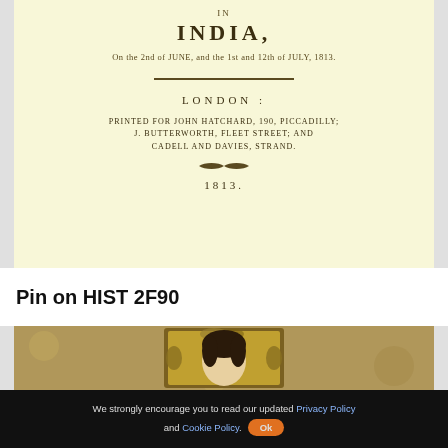[Figure (photo): Scanned title page of a historical book about India, dated 1813, printed for John Hatchard, 190 Piccadilly; J. Butterworth, Fleet Street; and Cadell and Davies, Strand. Text reads: IN / INDIA, / On the 2nd of JUNE, and the 1st and 12th of JULY, 1813. / [double rule] / LONDON: / PRINTED FOR JOHN HATCHARD, 190, PICCADILLY; / J. BUTTERWORTH, FLEET STREET; AND / CADELL AND DAVIES, STRAND. / [ornament] / 1813.]
Pin on HIST 2F90
[Figure (photo): Partial view of a portrait painting showing a woman with dark hair against a decorative golden frame with floral/foliage motifs, aged background.]
We strongly encourage you to read our updated Privacy Policy and Cookie Policy. Ok